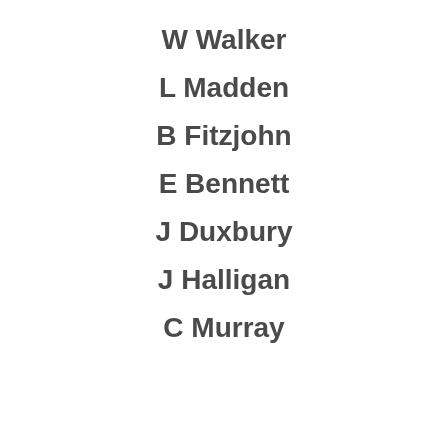W Walker
L Madden
B Fitzjohn
E Bennett
J Duxbury
J Halligan
C Murray